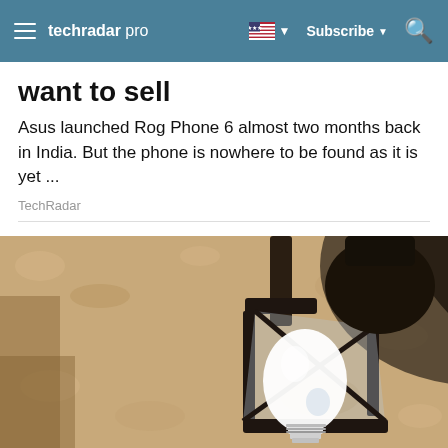techradar pro — Subscribe
want to sell
Asus launched Rog Phone 6 almost two months back in India. But the phone is nowhere to be found as it is yet ...
TechRadar
[Figure (photo): Close-up photograph of an outdoor wall-mounted lantern with a white glass bulb, mounted on a textured stucco wall]
[Figure (infographic): 1-800-Flowers.com advertisement banner: 'Now in the Plant Shop — Fresh picks for summer' with a photo of a potted plant and a 'SEE WHAT'S NEW' button]